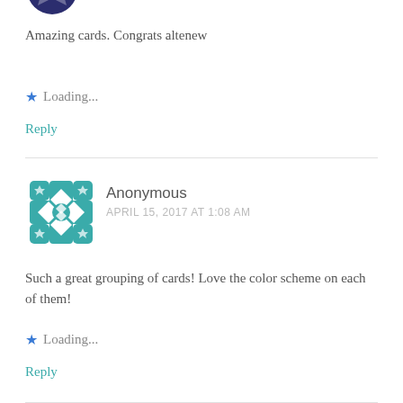[Figure (illustration): Partial avatar image at top, cropped, showing blue/purple graphic]
Amazing cards. Congrats altenew
★ Loading...
Reply
[Figure (illustration): Teal decorative geometric/snowflake avatar icon for Anonymous commenter]
Anonymous
APRIL 15, 2017 AT 1:08 AM
Such a great grouping of cards! Love the color scheme on each of them!
★ Loading...
Reply